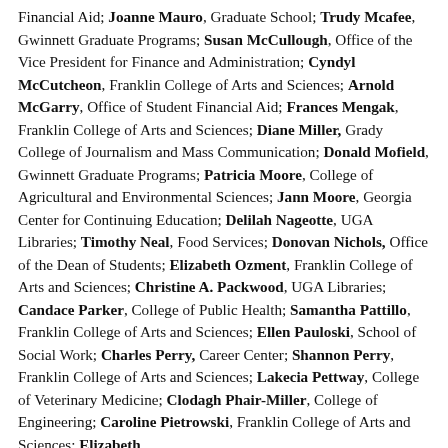Financial Aid; Joanne Mauro, Graduate School; Trudy Mcafee, Gwinnett Graduate Programs; Susan McCullough, Office of the Vice President for Finance and Administration; Cyndyl McCutcheon, Franklin College of Arts and Sciences; Arnold McGarry, Office of Student Financial Aid; Frances Mengak, Franklin College of Arts and Sciences; Diane Miller, Grady College of Journalism and Mass Communication; Donald Mofield, Gwinnett Graduate Programs; Patricia Moore, College of Agricultural and Environmental Sciences; Jann Moore, Georgia Center for Continuing Education; Delilah Nageotte, UGA Libraries; Timothy Neal, Food Services; Donovan Nichols, Office of the Dean of Students; Elizabeth Ozment, Franklin College of Arts and Sciences; Christine A. Packwood, UGA Libraries; Candace Parker, College of Public Health; Samantha Pattillo, Franklin College of Arts and Sciences; Ellen Pauloski, School of Social Work; Charles Perry, Career Center; Shannon Perry, Franklin College of Arts and Sciences; Lakecia Pettway, College of Veterinary Medicine; Clodagh Phair-Miller, College of Engineering; Caroline Pietrowski, Franklin College of Arts and Sciences; Elizabeth